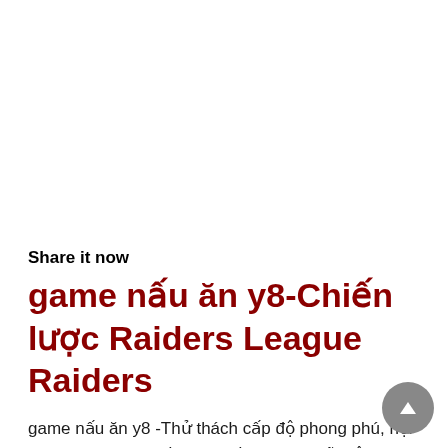Share it now
game nấu ăn y8-Chiến lược Raiders League Raiders
game nấu ăn y8 -Thử thách cấp độ phong phú, nội dung trò chơi thú vị và thú vị hơn. 10. Vẽ một bàn chải khác, giải câu đố và bạn có thể dễ dàng xóa cấp độ Chiến lược Raiders League Raiders.